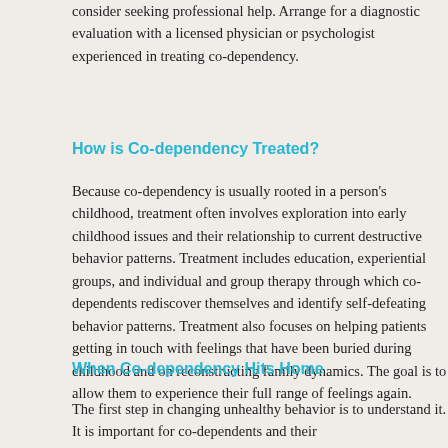consider seeking professional help. Arrange for a diagnostic evaluation with a licensed physician or psychologist experienced in treating co-dependency.
How is Co-dependency Treated?
Because co-dependency is usually rooted in a person’s childhood, treatment often involves exploration into early childhood issues and their relationship to current destructive behavior patterns. Treatment includes education, experiential groups, and individual and group therapy through which co-dependents rediscover themselves and identify self-defeating behavior patterns. Treatment also focuses on helping patients getting in touch with feelings that have been buried during childhood and on reconstructing family dynamics. The goal is to allow them to experience their full range of feelings again.
When Co-dependency Hits Home
The first step in changing unhealthy behavior is to understand it. It is important for co-dependents and their